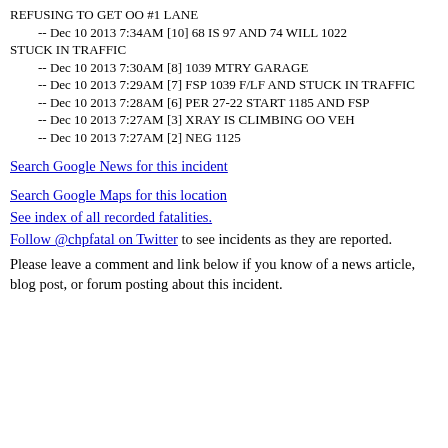REFUSING TO GET OO #1 LANE
    -- Dec 10 2013 7:34AM [10] 68 IS 97 AND 74 WILL 1022
STUCK IN TRAFFIC
    -- Dec 10 2013 7:30AM [8] 1039 MTRY GARAGE
    -- Dec 10 2013 7:29AM [7] FSP 1039 F/LF AND STUCK IN TRAFFIC
-- Dec 10 2013 7:28AM [6] PER 27-22 START 1185 AND FSP
-- Dec 10 2013 7:27AM [3] XRAY IS CLIMBING OO VEH
-- Dec 10 2013 7:27AM [2] NEG 1125
Search Google News for this incident
Search Google Maps for this location
See index of all recorded fatalities.
Follow @chpfatal on Twitter to see incidents as they are reported.
Please leave a comment and link below if you know of a news article, blog post, or forum posting about this incident.